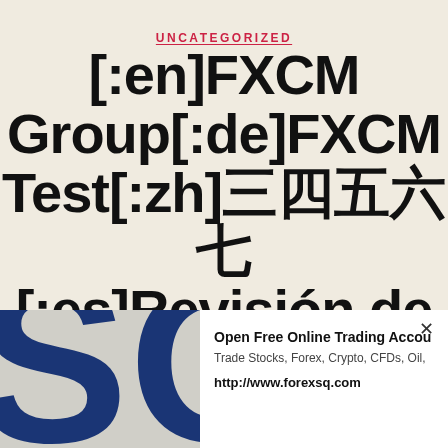UNCATEGORIZED
[:en]FXCM Group[:de]FXCM Test[:zh]　　　　[:es]Revisión de FXCM[:fr]Examen
[Figure (logo): Dark blue partial logo letters SQ on dark blue background, bottom left corner]
Open Free Online Trading Accou
Trade Stocks, Forex, Crypto, CFDs, Oil,
http://www.forexsq.com